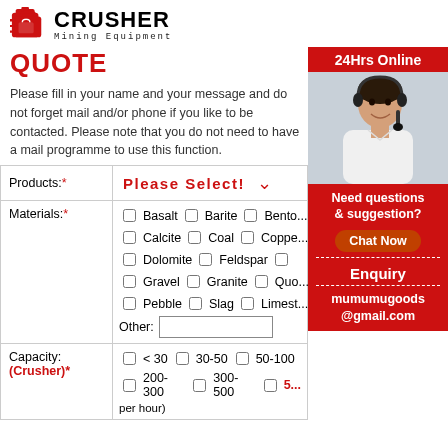[Figure (logo): Crusher Mining Equipment logo with red bag icon and bold text CRUSHER, Mining Equipment subtitle]
QUOTE
Please fill in your name and your message and do not forget mail and/or phone if you like to be contacted. Please note that you do not need to have a mail programme to use this function.
| Products:* | Please Select! |
| Materials:* | Basalt  Barite  Bento... Calcite  Coal  Coppe... Dolomite  Feldspar  ... Gravel  Granite  Quo... Pebble  Slag  Limest... Other: [input] |
| Capacity: (Crusher)* | < 30   30-50   50-100 ...
200-300   300-500   5...
per hour) |
[Figure (photo): Customer service agent photo with headset, 24Hrs Online banner, Need questions & suggestion text, Chat Now button, Enquiry section, mumumugoods@gmail.com email]